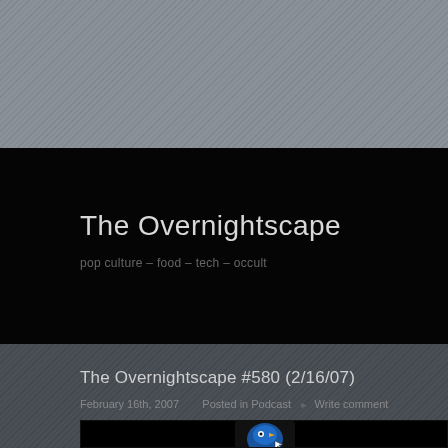The Overnightscape
pop culture – food – tech – occult
The Overnightscape #580 (2/16/07)
February 16th, 2007   Posted in Podcast  ▶  Write comment
[Figure (screenshot): Black area with a small blue bird/character logo icon at the bottom center, partially visible]